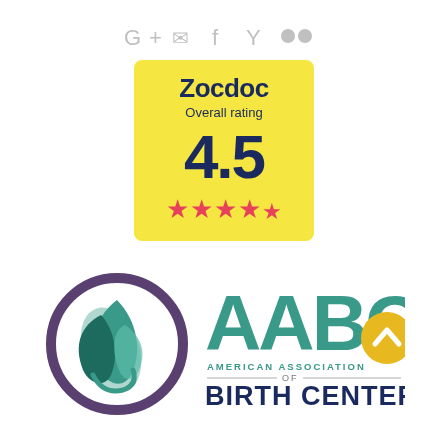[Figure (logo): Social sharing icons: G+, mail, f (Facebook), Y (Yahoo), flickr dots — shown in light gray at top]
[Figure (infographic): Zocdoc Overall rating badge: yellow background, score 4.5, 4.5 pink stars out of 5]
[Figure (logo): Left logo: circular dark purple ring with teal leaf/flame design inside. Right logo: AABC - American Association of Birth Centers in teal, with gold circle accent on the C]